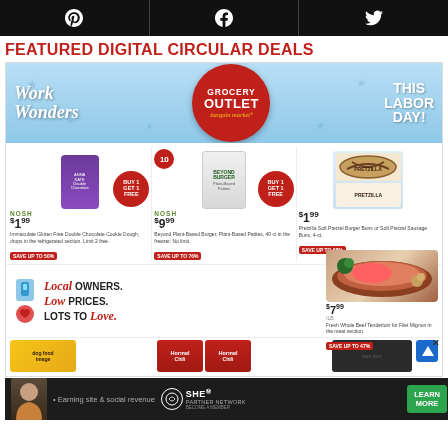[Figure (other): Social media sharing bar with Pinterest, Facebook, and Twitter icons on black background]
FEATURED DIGITAL CIRCULAR DEALS
[Figure (infographic): Grocery Outlet Bargain Market Labor Day featured digital circular ad with Work Wonders text, logo, product deals including NOSH gluten free cookie dough $1.99 buy 1 get 1 free, Beyond Burger $9.99 buy 1 get 1 free, Pretzilla buns $1.99, Local Owners Low Prices Lots to Love promo, Fresh Whole Beef Tenderloin $7.99/lb, and Hormel Chili products at bottom]
[Figure (infographic): SHE Media partner network advertisement banner with Learn More button]